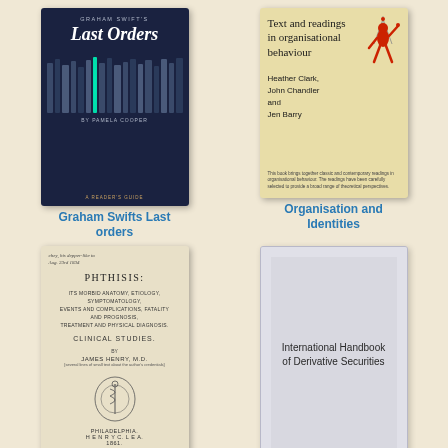[Figure (illustration): Book cover of Graham Swift's Last Orders, dark navy blue cover with white book spines at bottom and a glowing green spine, text 'BY PAMELA COOPER' and 'A READER'S GUIDE']
Graham Swifts Last orders
[Figure (illustration): Book cover of Text and readings in organisational behaviour by Heather Clark, John Chandler and Jen Barry, cream/yellow background with a red puppet/marionette figure on the right]
Organisation and Identities
[Figure (illustration): Old book cover of Phthisis with subtitle about morbid anatomy, etiology, symptomatology, clinical studies, author James Henry M.D., published Philadelphia Henry C. Lea 1861, with decorative crest/emblem]
Phthisis
[Figure (illustration): Plain grey book cover with text International Handbook of Derivative Securities]
International Handbook